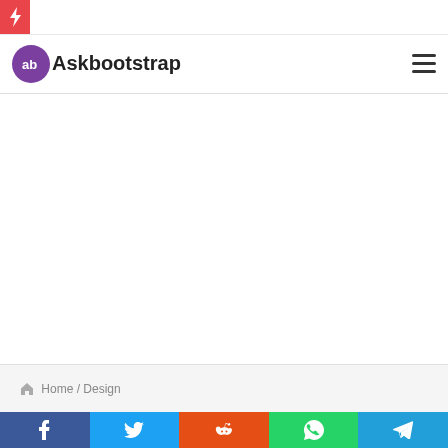Askbootstrap
Home / Design
[Figure (other): Social share bar with Facebook, Twitter, Reddit, WhatsApp, and Telegram buttons]